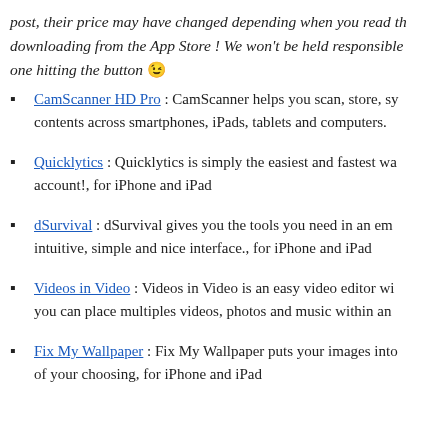post, their price may have changed depending when you read th downloading from the App Store ! We won't be held responsible one hitting the button 😉
CamScanner HD Pro : CamScanner helps you scan, store, sy contents across smartphones, iPads, tablets and computers.
Quicklytics : Quicklytics is simply the easiest and fastest wa account!, for iPhone and iPad
dSurvival : dSurvival gives you the tools you need in an em intuitive, simple and nice interface., for iPhone and iPad
Videos in Video : Videos in Video is an easy video editor wi you can place multiples videos, photos and music within an
Fix My Wallpaper : Fix My Wallpaper puts your images into of your choosing, for iPhone and iPad